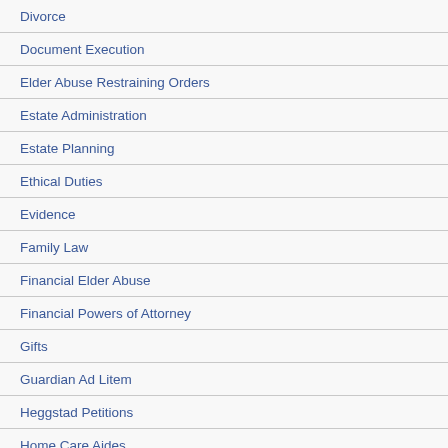Divorce
Document Execution
Elder Abuse Restraining Orders
Estate Administration
Estate Planning
Ethical Duties
Evidence
Family Law
Financial Elder Abuse
Financial Powers of Attorney
Gifts
Guardian Ad Litem
Heggstad Petitions
Home Care Aides